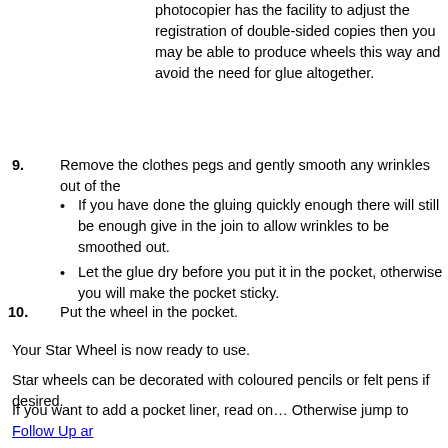photocopier has the facility to adjust the registration of double-sided copies then you may be able to produce wheels this way and avoid the need for glue altogether.
9. Remove the clothes pegs and gently smooth any wrinkles out of the
If you have done the gluing quickly enough there will still be enough give in the join to allow wrinkles to be smoothed out.
Let the glue dry before you put it in the pocket, otherwise you will make the pocket sticky.
10. Put the wheel in the pocket.
Your Star Wheel is now ready to use.
Star wheels can be decorated with coloured pencils or felt pens if desired.
If you want to add a pocket liner, read on… Otherwise jump to Follow Up ar